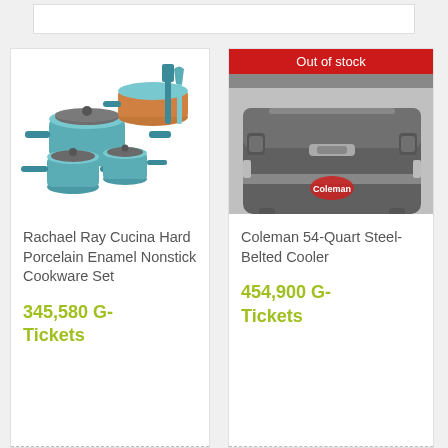[Figure (photo): Rachael Ray Cucina Hard Porcelain Enamel Nonstick Cookware Set - multiple teal/blue pots and pans with dark handles and lids, including a skillet and utensils]
Rachael Ray Cucina Hard Porcelain Enamel Nonstick Cookware Set
345,580 G-Tickets
[Figure (photo): Coleman 54-Quart Steel-Belted Cooler - dark grey/charcoal metal cooler with chrome hardware, Out of stock banner]
Coleman 54-Quart Steel-Belted Cooler
454,900 G-Tickets